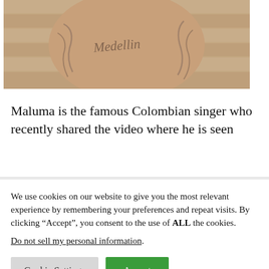[Figure (photo): A heavily tattooed shirtless man with 'Medellin' written in script tattoo across his torso, with tattoo sleeve arms, sitting in front of a wooden background.]
Maluma is the famous Colombian singer who recently shared the video where he is seen
We use cookies on our website to give you the most relevant experience by remembering your preferences and repeat visits. By clicking “Accept”, you consent to the use of ALL the cookies.
Do not sell my personal information.